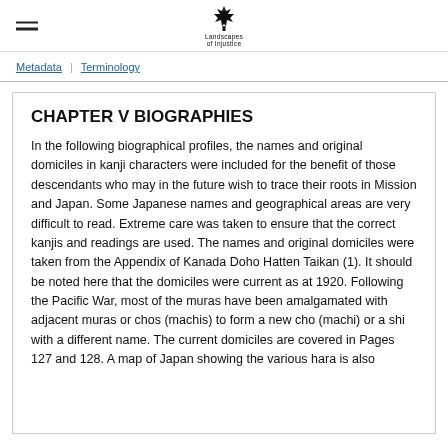Landscapes of Injustice
Metadata | Terminology
CHAPTER V BIOGRAPHIES
In the following biographical profiles, the names and original domiciles in kanji characters were included for the benefit of those descendants who may in the future wish to trace their roots in Mission and Japan. Some Japanese names and geographical areas are very difficult to read. Extreme care was taken to ensure that the correct kanjis and readings are used. The names and original domiciles were taken from the Appendix of Kanada Doho Hatten Taikan (1). It should be noted here that the domiciles were current as at 1920. Following the Pacific War, most of the muras have been amalgamated with adjacent muras or chos (machis) to form a new cho (machi) or a shi with a different name. The current domiciles are covered in Pages 127 and 128. A map of Japan showing the various hara is also